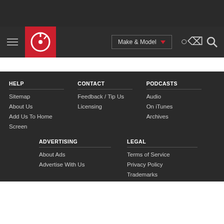[Figure (screenshot): Navigation bar with hamburger menu, Edmunds logo in red square, Make & Model dropdown button, and search icon on dark background]
HELP
Sitemap
About Us
Add Us To Home Screen
CONTACT
Feedback / Tip Us
Licensing
PODCASTS
Audio
On iTunes
Archives
ADVERTISING
About Ads
Advertise With Us
LEGAL
Terms of Service
Privacy Policy
Trademarks